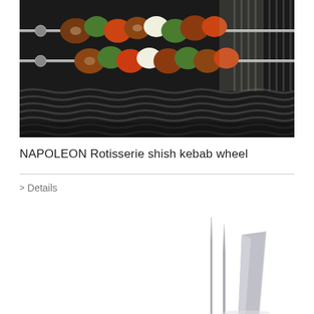[Figure (photo): Photo of rotisserie shish kebab skewers with meat, peppers, and vegetables on a grill grate inside a barbecue grill]
NAPOLEON Rotisserie shish kebab wheel
> Details
[Figure (photo): Partial photo of stainless steel cooking utensils / knives on white background]